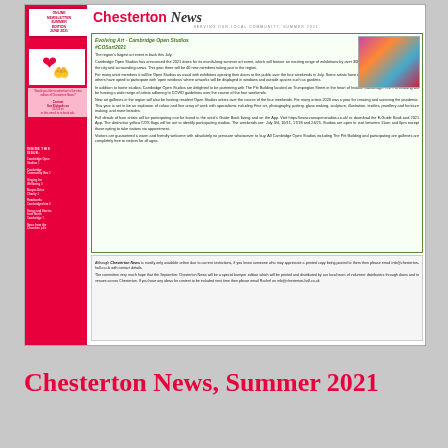[Figure (screenshot): Chesterton News Summer 2021 newsletter front page screenshot showing red and white layout with Cambridge Open Studios article]
Chesterton News, Summer 2021